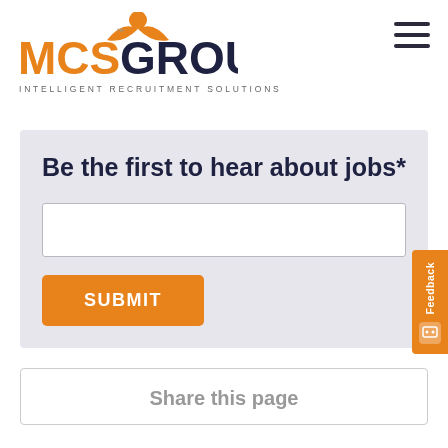[Figure (logo): MCS Group logo with orange figure icon above letters MCS in orange and GROUP in dark navy, tagline INTELLIGENT RECRUITMENT SOLUTIONS below]
Be the first to hear about jobs*
SUBMIT
Share this page